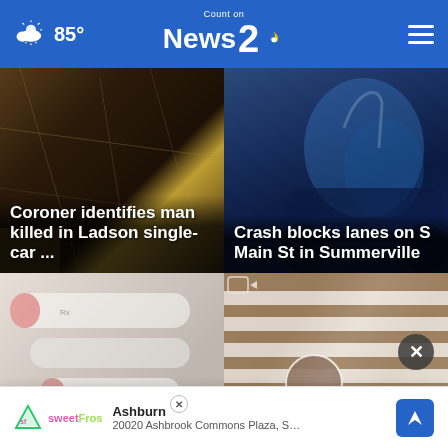85° Count on News 2 NBC
[Figure (photo): Close-up of cracked surface with yellow stripe, article thumbnail for coroner story]
Coroner identifies man killed in Ladson single-car ...
[Figure (photo): Police car with blue lights, article thumbnail for crash story]
Crash blocks lanes on S Main St in Summerville
[Figure (photo): Blurred medical/drug items, article thumbnail]
Overdose ...
[Figure (photo): Building exterior with horizontal brown and white stripes, article thumbnail]
Top stories ...
Ashburn
20020 Ashbrook Commons Plaza, Ste .